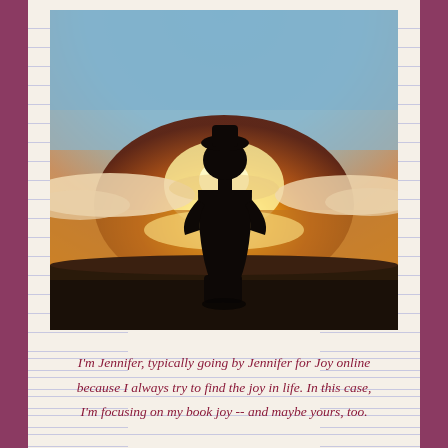[Figure (photo): Silhouette of a person standing at the edge of water, backlit by a golden sunset or sunrise, with mist or fog visible over the water surface and dark ground in the foreground.]
I'm Jennifer, typically going by Jennifer for Joy online because I always try to find the joy in life. In this case, I'm focusing on my book joy -- and maybe yours, too.